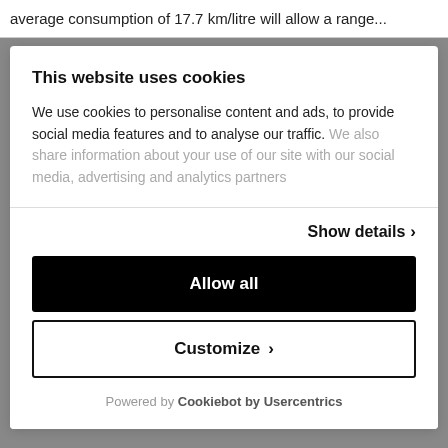average consumption of 17.7 km/litre will allow a range...
This website uses cookies
We use cookies to personalise content and ads, to provide social media features and to analyse our traffic. We also share information about your use of our site with our social media, advertising and analytics partners
Show details >
Allow all
Customize >
Powered by Cookiebot by Usercentrics